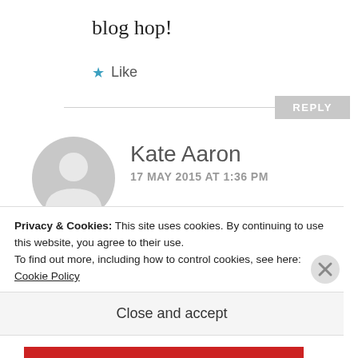blog hop!
★ Like
REPLY
[Figure (illustration): Gray default avatar silhouette circle for user Kate Aaron]
Kate Aaron
17 MAY 2015 AT 1:36 PM
:O Who said you could print
Privacy & Cookies: This site uses cookies. By continuing to use this website, you agree to their use.
To find out more, including how to control cookies, see here: Cookie Policy
Close and accept